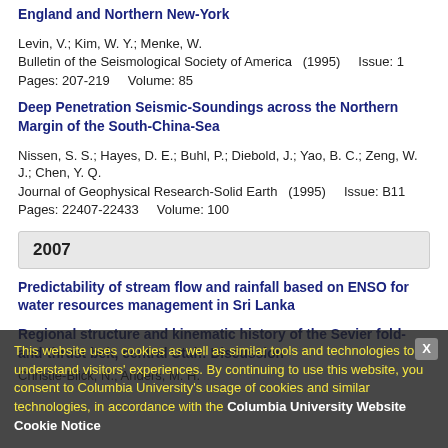England and Northern New-York
Levin, V.; Kim, W. Y.; Menke, W.
Bulletin of the Seismological Society of America  (1995)    Issue: 1
Pages: 207-219    Volume: 85
Deep Penetration Seismic-Soundings across the Northern Margin of the South-China-Sea
Nissen, S. S.; Hayes, D. E.; Buhl, P.; Diebold, J.; Yao, B. C.; Zeng, W. J.; Chen, Y. Q.
Journal of Geophysical Research-Solid Earth  (1995)    Issue: B11
Pages: 22407-22433    Volume: 100
2007
Predictability of stream flow and rainfall based on ENSO for water resources management in Sri Lanka
Regional structure and kinematic history of the Sevier fold-and-thrust belt, central Utah: Discussion
Christie-Blick, N.; Anders, M. H.
This website uses cookies as well as similar tools and technologies to understand visitors' experiences. By continuing to use this website, you consent to Columbia University's usage of cookies and similar technologies, in accordance with the Columbia University Website Cookie Notice